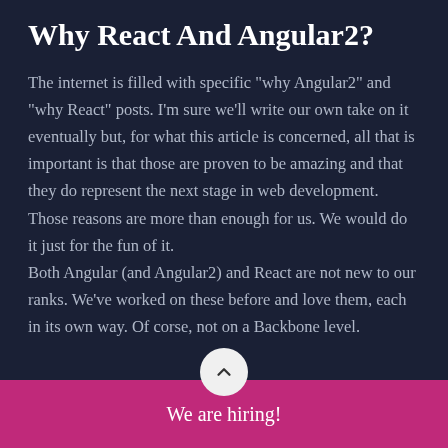Why React And Angular2?
The internet is filled with specific "why Angular2" and "why React" posts. I'm sure we'll write our own take on it eventually but, for what this article is concerned, all that is important is that those are proven to be amazing and that they do represent the next stage in web development.
Those reasons are more than enough for us. We would do it just for the fun of it.
Both Angular (and Angular2) and React are not new to our ranks. We've worked on these before and love them, each in its own way. Of corse, not on a Backbone level.
We are hiring!